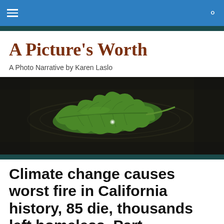A Picture's Worth
A Photo Narrative by Karen Laslo
[Figure (photo): A green oak leaf floating on dark still water, with a small water droplet visible on its surface and ripples around the edges.]
Climate change causes worst fire in California history, 85 die, thousands left homeless. Part